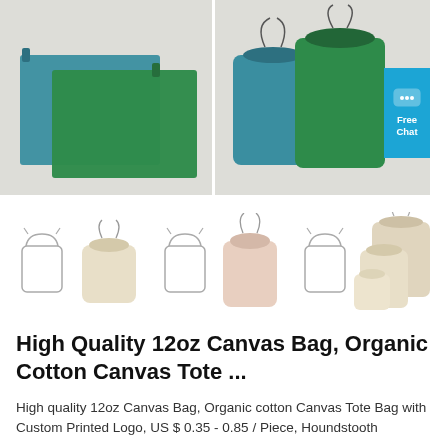[Figure (photo): Two views of canvas drawstring bags in teal and green colors. Left half shows bags laid flat; right half shows bags upright with drawstrings visible. A blue Free Chat button overlay is on the right edge.]
[Figure (photo): Three thumbnail groups of natural/cream colored canvas drawstring bags, each showing a line-drawing icon alongside a photograph of the bag(s).]
High Quality 12oz Canvas Bag, Organic Cotton Canvas Tote ...
High quality 12oz Canvas Bag, Organic cotton Canvas Tote Bag with Custom Printed Logo, US $ 0.35 - 0.85 / Piece, Houndstooth